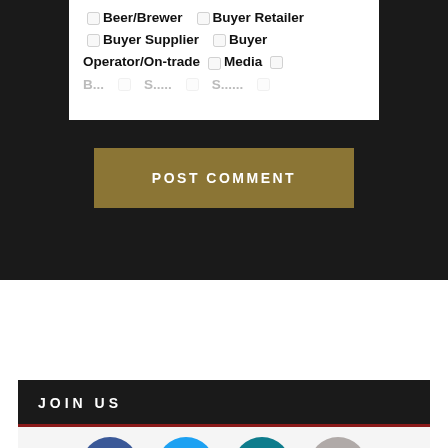Beer/Brewer  Buyer Retailer
Buyer Supplier  Buyer
Operator/On-trade  Media
(partially visible row)
POST COMMENT
JOIN US
[Figure (infographic): Social media icons: Facebook (blue), Twitter (light blue), LinkedIn (teal), Instagram (grey)]